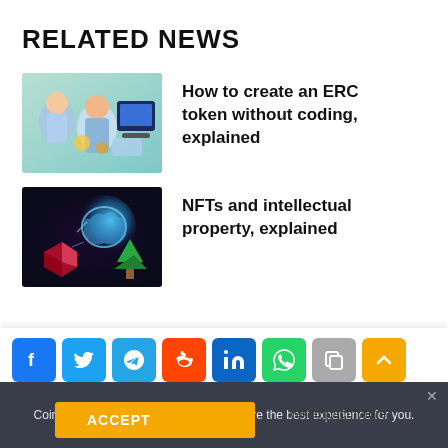RELATED NEWS
How to create an ERC token without coding, explained
NFTs and intellectual property, explained
[Figure (infographic): Social sharing buttons: Facebook, Twitter, Telegram, Reddit, LinkedIn, WhatsApp, Copy, Scroll-to-top]
Cointelegraph.com uses Cookies to ensure the best experience for you.
ACCEPT
will impact future